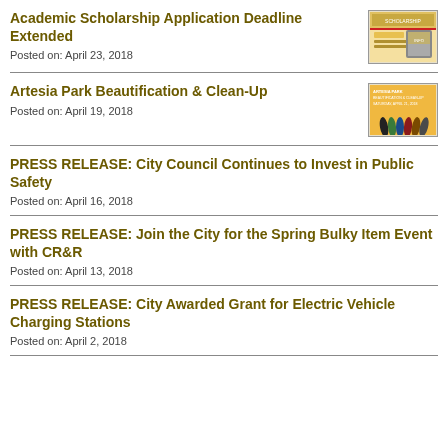Academic Scholarship Application Deadline Extended
Posted on: April 23, 2018
Artesia Park Beautification & Clean-Up
Posted on: April 19, 2018
PRESS RELEASE: City Council Continues to Invest in Public Safety
Posted on: April 16, 2018
PRESS RELEASE: Join the City for the Spring Bulky Item Event with CR&R
Posted on: April 13, 2018
PRESS RELEASE: City Awarded Grant for Electric Vehicle Charging Stations
Posted on: April 2, 2018